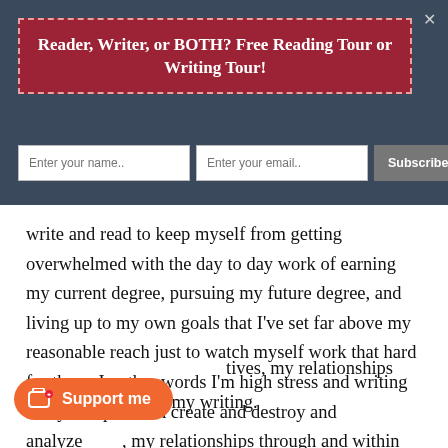Reader, Writer, or BOTH? Free Reading Tour or Writing Tour!
Enter your name..
Enter your email..
Subscribe Now
write and read to keep myself from getting overwhelmed with the day to day work of earning my current degree, pursuing my future degree, and living up to my own goals that I've set far above my reasonable reach just to watch myself work that hard for them. In other words I'm high stress and writing is my escape. I can create and destroy and analyze tives, my relationships through and within my writing.
Support me